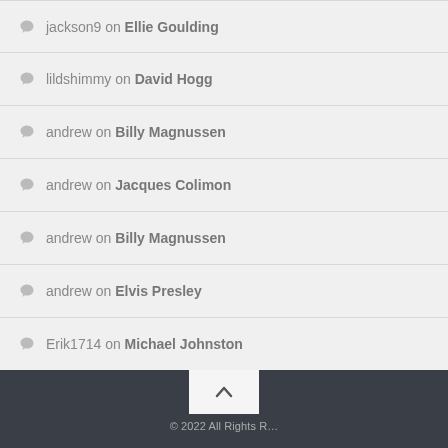jackson9 on Ellie Goulding
lildshimmy on David Hogg
andrew on Billy Magnussen
andrew on Jacques Colimon
andrew on Billy Magnussen
andrew on Elvis Presley
Erik1714 on Michael Johnston
© 2022 All Rights Reserved